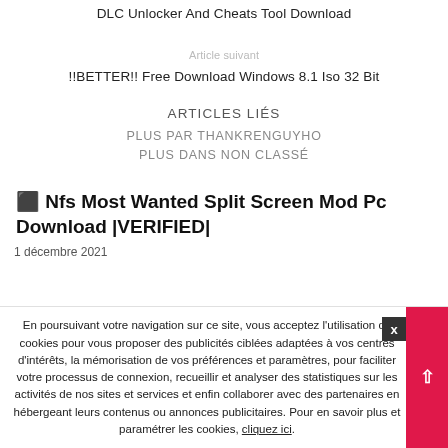DLC Unlocker And Cheats Tool Download
Article suivant
!!BETTER!! Free Download Windows 8.1 Iso 32 Bit
ARTICLES LIÉS
PLUS PAR THANKRENGUYHO
PLUS DANS NON CLASSÉ
⬛ Nfs Most Wanted Split Screen Mod Pc Download |VERIFIED|
1 décembre 2021
En poursuivant votre navigation sur ce site, vous acceptez l'utilisation de cookies pour vous proposer des publicités ciblées adaptées à vos centres d'intérêts, la mémorisation de vos préférences et paramètres, pour faciliter votre processus de connexion, recueillir et analyser des statistiques sur les activités de nos sites et services et enfin collaborer avec des partenaires en hébergeant leurs contenus ou annonces publicitaires. Pour en savoir plus et paramétrer les cookies, cliquez ici.